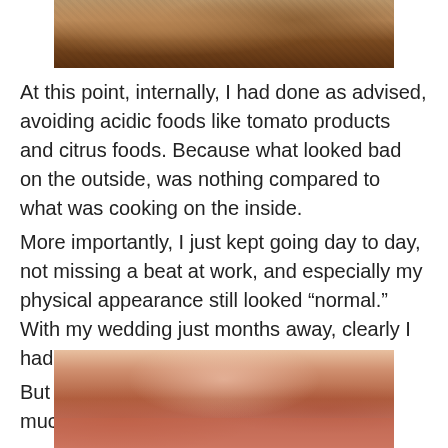[Figure (photo): Close-up photo of a skin burn or rash on the body, showing reddened and textured skin (top portion, cropped)]
At this point, internally, I had done as advised, avoiding acidic foods like tomato products and citrus foods. Because what looked bad on the outside, was nothing compared to what was cooking on the inside.
More importantly, I just kept going day to day, not missing a beat at work, and especially my physical appearance still looked “normal.”  With my wedding just months away, clearly I had made the right decision.
But as the days went on, the skin burn got much worse.
[Figure (photo): Close-up photo of a skin burn on a person's torso, showing severely reddened, irritated, and peeling skin]